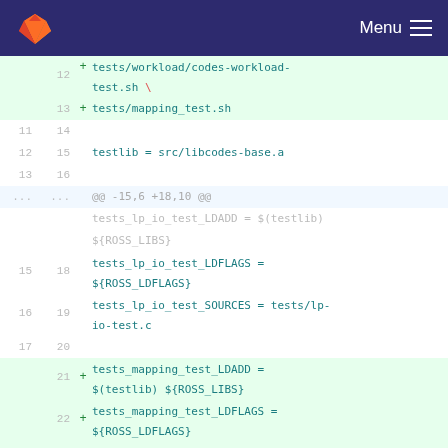Menu
[Figure (screenshot): GitLab diff view showing changes to a Makefile or automake file. Lines show additions of tests/mapping_test.sh, testlib = src/libcodes-base.a, tests_lp_io_test_LDFLAGS, tests_lp_io_test_SOURCES, tests_mapping_test_LDADD, tests_mapping_test_LDFLAGS, tests_mapping_test_SOURCES entries.]